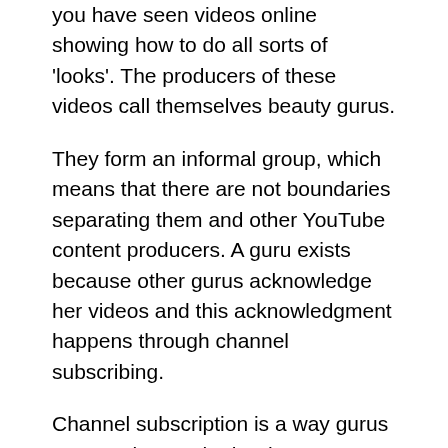you have seen videos online showing how to do all sorts of 'looks'. The producers of these videos call themselves beauty gurus.
They form an informal group, which means that there are not boundaries separating them and other YouTube content producers. A guru exists because other gurus acknowledge her videos and this acknowledgment happens through channel subscribing.
Channel subscription is a way gurus come to know who is who among the many that dedicate hours every week creating these video tutorials. The number of subscribers shows if a guru has a higher or lower reputation. Reputation is a way gurus demonstrate admiration for those who know more than them. Through this process, if a person likes a certain channel, she can find others by looking at that channel's subscribers.